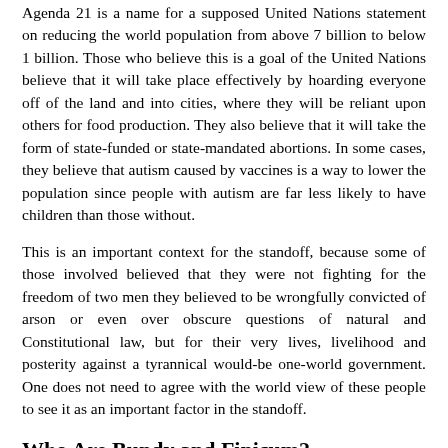Agenda 21 is a name for a supposed United Nations statement on reducing the world population from above 7 billion to below 1 billion. Those who believe this is a goal of the United Nations believe that it will take place effectively by hoarding everyone off of the land and into cities, where they will be reliant upon others for food production. They also believe that it will take the form of state-funded or state-mandated abortions. In some cases, they believe that autism caused by vaccines is a way to lower the population since people with autism are far less likely to have children than those without.
This is an important context for the standoff, because some of those involved believed that they were not fighting for the freedom of two men they believed to be wrongfully convicted of arson or even over obscure questions of natural and Constitutional law, but for their very lives, livelihood and posterity against a tyrannical would-be one-world government. One does not need to agree with the world view of these people to see it as an important factor in the standoff.
Who Are Bundy and Finicum?
Ammon Bundy is a name probably known to many readers of this website. He is the son of Cliven Bundy, the man who had previously stood up to the BLM over grazing rights in Nevada in